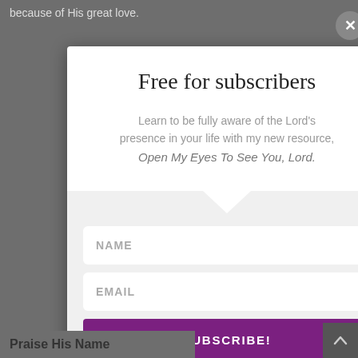because of His great love.
[Figure (screenshot): Email subscription modal popup with title 'Free for subscribers', subtitle text about learning to be aware of the Lord's presence, name and email input fields, and a purple SUBSCRIBE! button]
Your information will be safe and never shared
Praise His Name